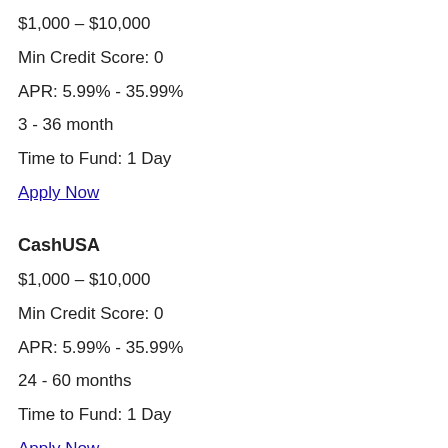$1,000 – $10,000
Min Credit Score: 0
APR: 5.99% - 35.99%
3 - 36 month
Time to Fund: 1 Day
Apply Now
CashUSA
$1,000 – $10,000
Min Credit Score: 0
APR: 5.99% - 35.99%
24 - 60 months
Time to Fund: 1 Day
Apply Now